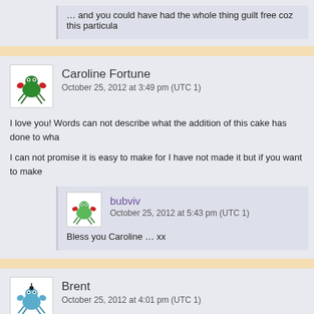… and you could have had the whole thing guilt free coz this particula
Caroline Fortune
October 25, 2012 at 3:49 pm (UTC 1)
I love you! Words can not describe what the addition of this cake has done to wha
I can not promise it is easy to make for I have not made it but if you want to make
bubviv
October 25, 2012 at 5:43 pm (UTC 1)
Bless you Caroline … xx
Brent
October 25, 2012 at 4:01 pm (UTC 1)
This was superb! Rich and flavoursome, yet light and tangy- great contrast in flav